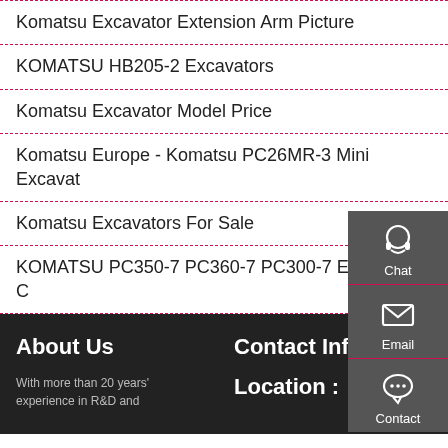Komatsu Excavator Extension Arm Picture
KOMATSU HB205-2 Excavators
Komatsu Excavator Model Price
Komatsu Europe - Komatsu PC26MR-3 Mini Excavator
Komatsu Excavators For Sale
KOMATSU PC350-7 PC360-7 PC300-7 Excavator C
[Figure (infographic): Sidebar with three icons: Chat (headset icon), Email (envelope icon), Contact (speech bubble with dots icon). Dark gray background with red dividers.]
About Us
With more than 20 years' experience in R&D and
Contact Info
Location :